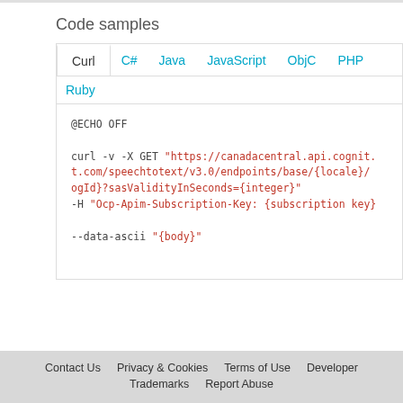Code samples
Curl  C#  Java  JavaScript  ObjC  PHP
Ruby
@ECHO OFF

curl -v -X GET "https://canadacentral.api.cognit.com/speechtotext/v3.0/endpoints/base/{locale}/ogId}?sasValidityInSeconds={integer}"
-H "Ocp-Apim-Subscription-Key: {subscription key}"

--data-ascii "{body}"
Contact Us  Privacy & Cookies  Terms of Use  Developer  Trademarks  Report Abuse